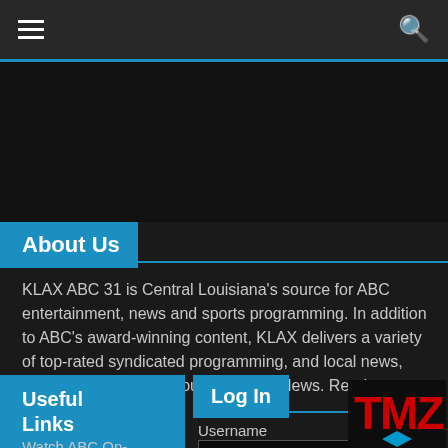Navigation bar with hamburger menu and search icon
About Us
KLAX ABC 31 is Central Louisiana's source for ABC entertainment, news and sports programming. In addition to ABC's award-winning content, KLAX delivers a variety of top-rated syndicated programming, and local news, weather and sports through ABC 31 News. Read more...
Useful Links
Log In
Username
Watch ABC On-Demand
[Figure (logo): TMZ logo in red bold text on dark background with blue chevron mark]